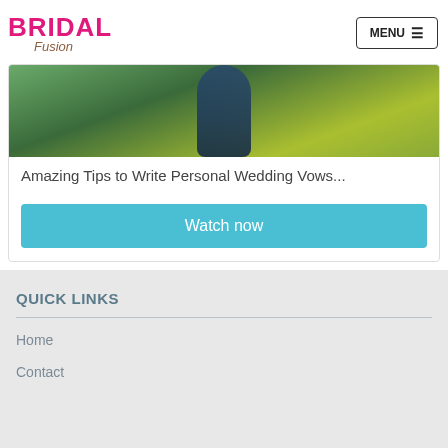BRIDAL Fusion — MENU
[Figure (photo): Photo of a person in a dark blue jacket outdoors with green foliage background]
Amazing Tips to Write Personal Wedding Vows...
Watch now
QUICK LINKS
Home
Contact